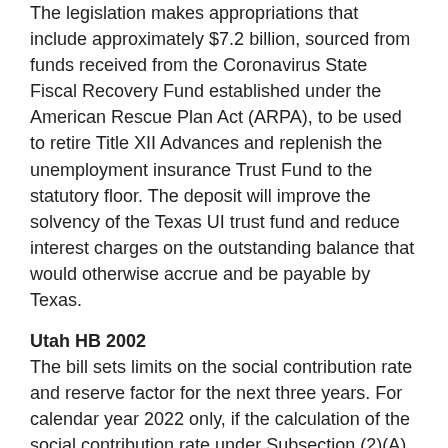The legislation makes appropriations that include approximately $7.2 billion, sourced from funds received from the Coronavirus State Fiscal Recovery Fund established under the American Rescue Plan Act (ARPA), to be used to retire Title XII Advances and replenish the unemployment insurance Trust Fund to the statutory floor. The deposit will improve the solvency of the Texas UI trust fund and reduce interest charges on the outstanding balance that would otherwise accrue and be payable by Texas.
Utah HB 2002
The bill sets limits on the social contribution rate and reserve factor for the next three years. For calendar year 2022 only, if the calculation of the social contribution rate under Subsection (2)(A) is greater than 0.003, the social contribution rate for that calendar year is 0.003. For calendar years 2023 and 2024 only, if the calculation of the